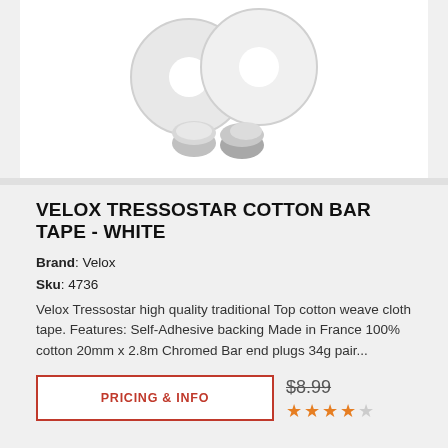[Figure (photo): Two white rolls of Velox Tressostar cotton bar tape with two silver/chrome bar end plugs in front, on a white background.]
VELOX TRESSOSTAR COTTON BAR TAPE - WHITE
Brand: Velox
Sku: 4736
Velox Tressostar high quality traditional Top cotton weave cloth tape. Features: Self-Adhesive backing Made in France 100% cotton 20mm x 2.8m Chromed Bar end plugs 34g pair...
PRICING & INFO
$8.99